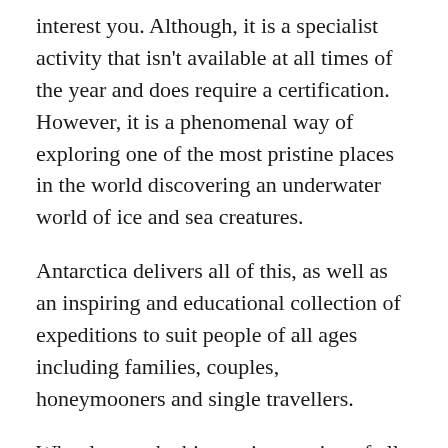interest you. Although, it is a specialist activity that isn't available at all times of the year and does require a certification. However, it is a phenomenal way of exploring one of the most pristine places in the world discovering an underwater world of ice and sea creatures.
Antarctica delivers all of this, as well as an inspiring and educational collection of expeditions to suit people of all ages including families, couples, honeymooners and single travellers.
What leaves the biggest impression of all is the remote beauty and solitude of the Antarctic seas. Experience nature at it's